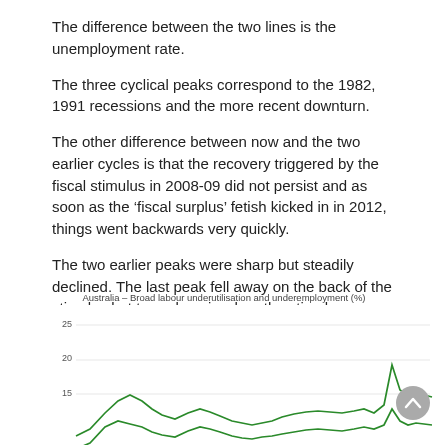The difference between the two lines is the unemployment rate.
The three cyclical peaks correspond to the 1982, 1991 recessions and the more recent downturn.
The other difference between now and the two earlier cycles is that the recovery triggered by the fiscal stimulus in 2008-09 did not persist and as soon as the ‘fiscal surplus’ fetish kicked in in 2012, things went backwards very quickly.
The two earlier peaks were sharp but steadily declined. The last peak fell away on the back of the stimulus but turned again when the stimulus was withdrawn.
[Figure (line-chart): Partial line chart showing broad labour underutilisation and underemployment (%) for Australia over time. Two green lines visible with three cyclical peaks corresponding to 1982, 1991, and a more recent downturn. Y-axis shows values 15, 20, 25. Chart is cut off at the bottom of the page.]